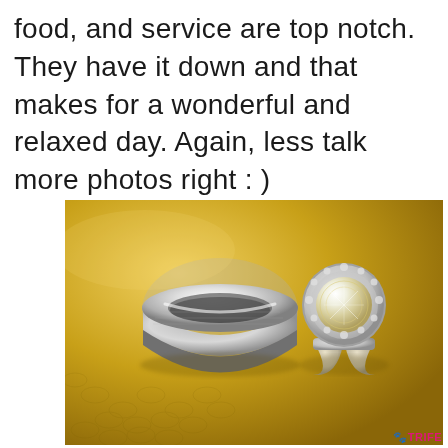food, and service are top notch. They have it down and that makes for a wonderful and relaxed day. Again, less talk more photos right : )
[Figure (photo): Two wedding rings on a golden textured surface. On the left is a wide matte silver/platinum band ring. On the right is a diamond halo engagement ring with a round center stone surrounded by smaller diamonds on a thin band.]